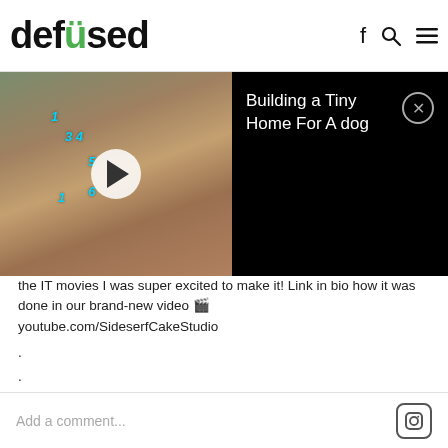defused
[Figure (screenshot): Aerial view video thumbnail showing numbered markers on desert ground with play button overlay, and black panel with title 'Building a Tiny Home For A dog' and close button]
the IT movies I was super excited to make it! Link in bio how it was done in our brand-new video 🎬 youtube.com/SideserfCakeStudio
.
.
.
#SideserfCakes #StephenKingRules #ITmovie #Halloween #cakedecorating #cakedesign #cakeoftheday #cakesofinstagram #cakesofig #stephenking #pennywise #pennywiseclown @itmovieunofficial @stephenking #dessert #baking #spooky #spookyszn #horror #horrormovies #80shorror #90shorror
view all 132 comments
Add a comment...